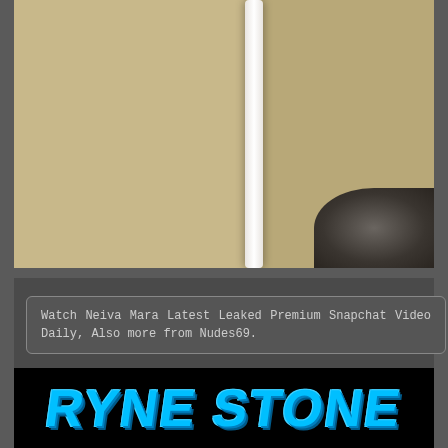[Figure (photo): Close-up photo of a beige/cream quilted fabric or garment with a white seam/strap running diagonally, dark fabric visible in bottom right corner]
Watch Neiva Mara Latest Leaked Premium Snapchat Video Daily, Also more from Nudes69.
[Figure (logo): RYNE STONE logo text in bold cyan/blue stylized lettering on black background]